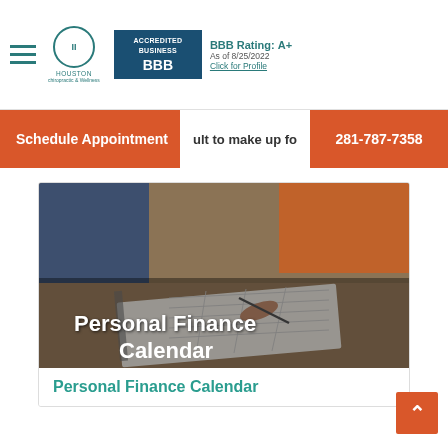Houston | BBB Accredited Business | BBB Rating: A+ As of 8/25/2022 | Click for Profile
Schedule Appointment | ult to make up fo... | 281-787-7358
[Figure (photo): Two people reviewing a planner/calendar on a table, with text overlay reading 'Personal Finance Calendar']
Personal Finance Calendar